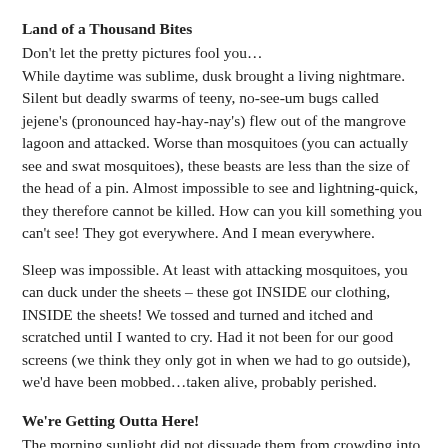Land of a Thousand Bites
Don't let the pretty pictures fool you…
While daytime was sublime, dusk brought a living nightmare. Silent but deadly swarms of teeny, no-see-um bugs called jejene's (pronounced hay-hay-nay's) flew out of the mangrove lagoon and attacked. Worse than mosquitoes (you can actually see and swat mosquitoes), these beasts are less than the size of the head of a pin. Almost impossible to see and lightning-quick, they therefore cannot be killed. How can you kill something you can't see! They got everywhere. And I mean everywhere.
Sleep was impossible. At least with attacking mosquitoes, you can duck under the sheets – these got INSIDE our clothing, INSIDE the sheets! We tossed and turned and itched and scratched until I wanted to cry. Had it not been for our good screens (we think they only got in when we had to go outside), we'd have been mobbed…taken alive, probably perished.
We're Getting Outta Here!
The morning sunlight did not dissuade them from crowding into our